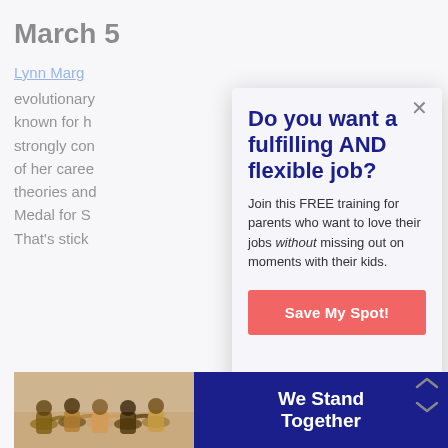March 5
Lynn Marg evolutionary known for h strongly con of her caree theories and Medal for S That's stick
[Figure (screenshot): Modal popup overlay with headline 'Do you want a fulfilling AND flexible job?' and body text and CTA button]
Do you want a fulfilling AND flexible job?
Join this FREE training for parents who want to love their jobs without missing out on moments with their kids.
Save My Spot!
[Figure (photo): Group of people with arms around each other from behind, outdoor setting. Ad banner with text 'We Stand Together']